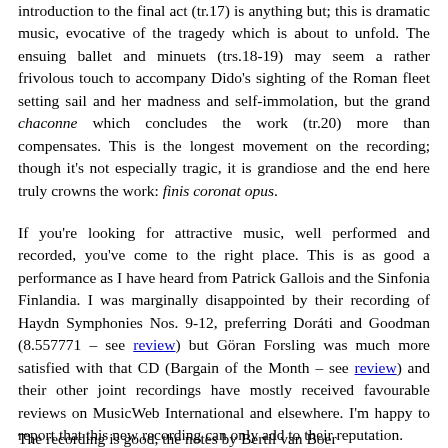introduction to the final act (tr.17) is anything but; this is dramatic music, evocative of the tragedy which is about to unfold. The ensuing ballet and minuets (trs.18-19) may seem a rather frivolous touch to accompany Dido's sighting of the Roman fleet setting sail and her madness and self-immolation, but the grand chaconne which concludes the work (tr.20) more than compensates. This is the longest movement on the recording; though it's not especially tragic, it is grandiose and the end here truly crowns the work: finis coronat opus.
If you're looking for attractive music, well performed and recorded, you've come to the right place. This is as good a performance as I have heard from Patrick Gallois and the Sinfonia Finlandia. I was marginally disappointed by their recording of Haydn Symphonies Nos. 9-12, preferring Doráti and Goodman (8.557771 – see review) but Göran Forsling was much more satisfied with that CD (Bargain of the Month – see review) and their other joint recordings have mostly received favourable reviews on MusicWeb International and elsewhere. I'm happy to report that this new recording can only add to their reputation.
The recording is good, the notes by Bertil van Boer